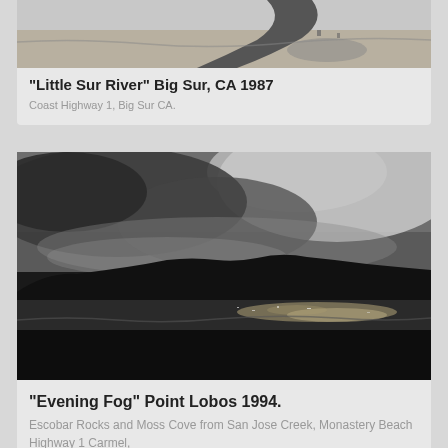[Figure (photo): Black and white aerial or elevated view of Little Sur River meeting the beach at Big Sur, CA, 1987]
"Little Sur River" Big Sur, CA 1987
Coast Highway 1, Big Sur CA.
[Figure (photo): Black and white dramatic coastal landscape photo of Evening Fog at Point Lobos 1994, showing dark silhouetted rocky headlands with fog and clouds, water reflecting light]
"Evening Fog" Point Lobos 1994.
Escobar Rocks and Moss Cove from San Jose Creek, Monastery Beach Highway 1 Carmel,